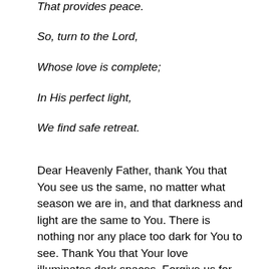That provides peace.
So, turn to the Lord,
Whose love is complete;
In His perfect light,
We find safe retreat.
Dear Heavenly Father, thank You that You see us the same, no matter what season we are in, and that darkness and light are the same to You. There is nothing nor any place too dark for You to see. Thank You that Your love illuminates dark spaces. Forgive us for